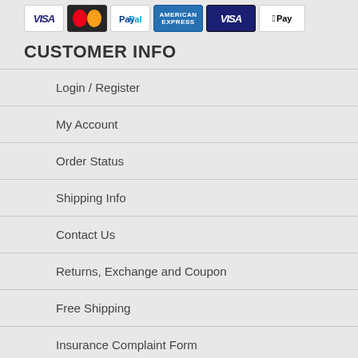[Figure (other): Payment method icons: Visa, Mastercard, PayPal, American Express, Visa (blue), Apple Pay]
CUSTOMER INFO
Login / Register
My Account
Order Status
Shipping Info
Contact Us
Returns, Exchange and Coupon
Free Shipping
Insurance Complaint Form
Accepting Medicare/Insurance